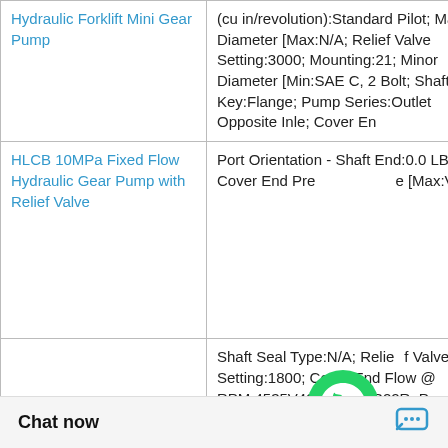| Product | Specifications |
| --- | --- |
| Hydraulic Forklift Mini Gear Pump | (cu in/revolution):Standard Pilot; Major Diameter [Max:N/A; Relief Valve Setting:3000; Mounting:21; Minor Diameter [Min:SAE C, 2 Bolt; Shaft Key:Flange; Pump Series:Outlet Opposite Inle; Cover En |
| HLCB 10MPa Fixed Flow Hydraulic Gear Pump with Relief Valve | Port Orientation - Shaft End:0.0 LB; Cover End Pressure [Max:V20; |
| MK11 Stator Cam Ring Hydraulics Motor Spare Par... | Shaft Seal Type:N/A; Relief Valve Setting:1800; Cover End Flow @ RPM:4535V42A25-86BB22R; Pump Series:N/A; Pressure Port Size, Cover End:3/8 in; Minor Diameter [Max:1800; Spline Description: @ 1,800 rpm, Cove Pilot Type:4.9; Di t Shaft End (cu i |
[Figure (logo): WhatsApp green phone icon with WhatsApp Online label]
Chat now